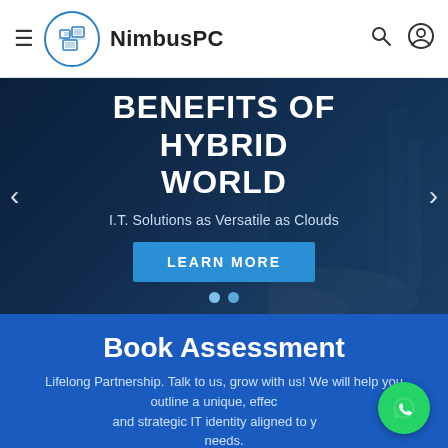NimbusPC
[Figure (screenshot): Hero banner with dark blue background showing city/cloud imagery, large white bold text 'BENEFITS OF HYBRID WORLD', subtitle 'I.T. Solutions as Versatile as Clouds', a blue LEARN MORE button, navigation arrows on left and right, and two pagination dots]
Book Assessment
Lifelong Partnership. Talk to us, grow with us! We will help you outline a unique, effective and strategic IT identity aligned to your needs.